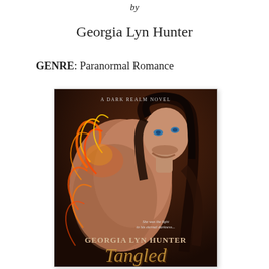by
Georgia Lyn Hunter
GENRE: Paranormal Romance
[Figure (illustration): Book cover for 'Tangled' by Georgia Lyn Hunter - A Dark Realm Novel. Shows a shirtless man with long dark hair and blue eyes surrounded by orange fiery tendrils. Text on cover reads: 'A DARK REALM NOVEL', 'She was the light to his eternal darkness...', 'GEORGIA LYN HUNTER', 'Tangled']